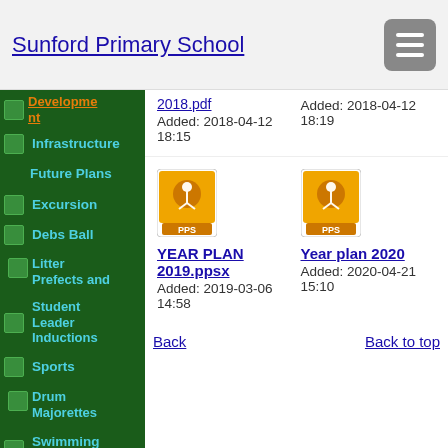Sunford Primary School
Development
Infrastructure
Future Plans
Excursion
Debs Ball
Litter Prefects and Student Leader Inductions
Sports
Drum Majorettes
Swimming Gala
2018.pdf
Added: 2018-04-12 18:15
Added: 2018-04-12 18:19
YEAR PLAN 2019.ppsx
Added: 2019-03-06 14:58
Year plan 2020
Added: 2020-04-21 15:10
Back
Back to top